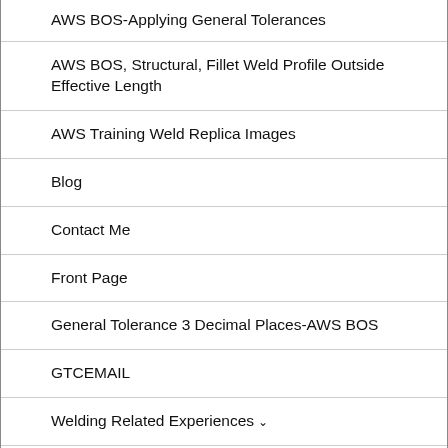AWS BOS-Applying General Tolerances
AWS BOS, Structural, Fillet Weld Profile Outside Effective Length
AWS Training Weld Replica Images
Blog
Contact Me
Front Page
General Tolerance 3 Decimal Places-AWS BOS
GTCEMAIL
Welding Related Experiences
Ingalls, $50.00 an hour pipe weld test, My experience